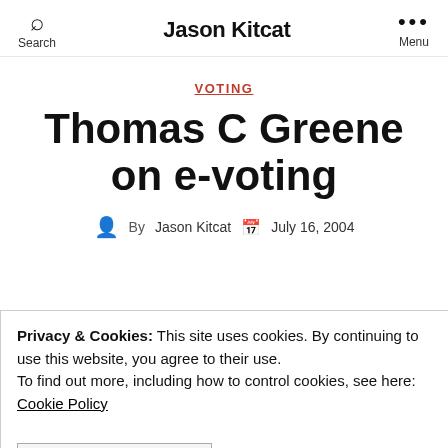Search | Jason Kitcat | Menu
VOTING
Thomas C Greene on e-voting
By Jason Kitcat  July 16, 2004
Privacy & Cookies: This site uses cookies. By continuing to use this website, you agree to their use. To find out more, including how to control cookies, see here: Cookie Policy
CLOSE AND ACCEPT
looking good on paper?" examines paper based voter